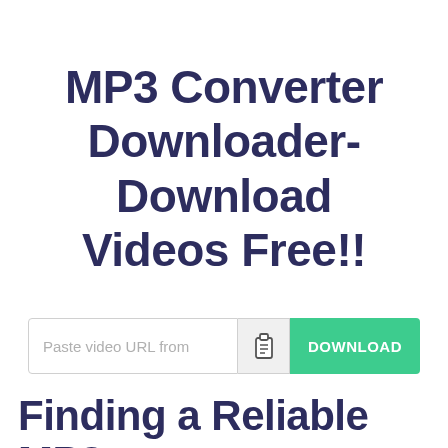MP3 Converter Downloader- Download Videos Free!!
[Figure (screenshot): A search input bar with placeholder text 'Paste video URL from', a clipboard icon button, and a green 'DOWNLOAD' button.]
Finding a Reliable MP3